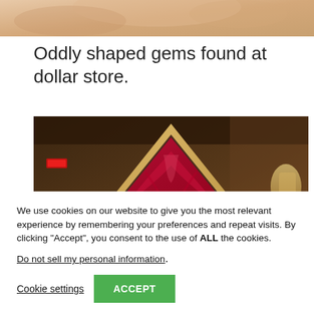[Figure (photo): Partial view of an image at the top of the page, showing a skin-toned background, partially cropped.]
Oddly shaped gems found at dollar store.
[Figure (photo): Photo of a triangular wooden frame display box with red/pink fabric or cloth arranged inside, set in a dimly lit interior space with warm ambient lighting.]
We use cookies on our website to give you the most relevant experience by remembering your preferences and repeat visits. By clicking “Accept”, you consent to the use of ALL the cookies.
Do not sell my personal information.
Cookie settings
ACCEPT